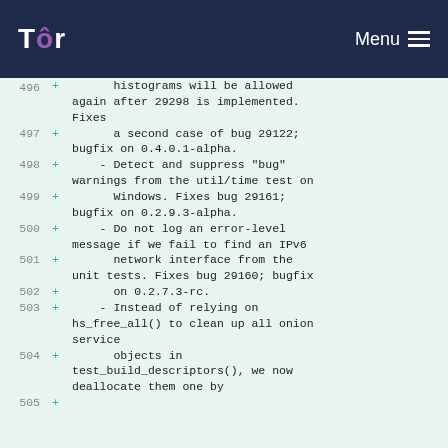Tor Menu
496 +       histograms will be allowed again after 29298 is implemented. Fixes
497 +       a second case of bug 29122; bugfix on 0.4.0.1-alpha.
498 +     - Detect and suppress "bug" warnings from the util/time test on
499 +       Windows. Fixes bug 29161; bugfix on 0.2.9.3-alpha.
500 +     - Do not log an error-level message if we fail to find an IPv6
501 +       network interface from the unit tests. Fixes bug 29160; bugfix
502 +       on 0.2.7.3-rc.
503 +     - Instead of relying on hs_free_all() to clean up all onion service
504 +       objects in test_build_descriptors(), we now deallocate them one by
505 +       ...